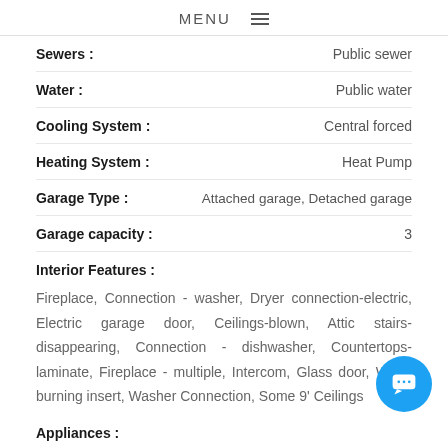MENU ≡
Sewers : Public sewer
Water : Public water
Cooling System : Central forced
Heating System : Heat Pump
Garage Type : Attached garage, Detached garage
Garage capacity : 3
Interior Features :
Fireplace, Connection - washer, Dryer connection-electric, Electric garage door, Ceilings-blown, Attic stairs-disappearing, Connection - dishwasher, Countertops-laminate, Fireplace - multiple, Intercom, Glass door, Wood burning insert, Washer Connection, Some 9' Ceilings
Appliances :
Dishwasher, Cooktop - Down Draft, Range/oven-electric